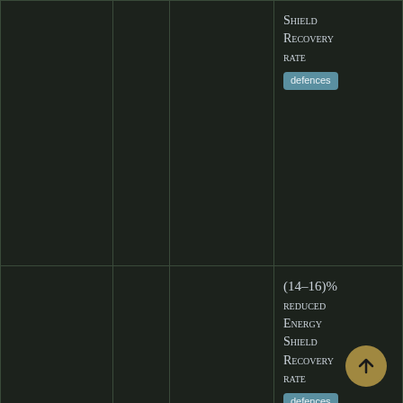|  |  |  |  |
| --- | --- | --- | --- |
|  |  |  | Shield Recovery rate [defences] |
|  | 68 | ScourgeDownside | (14–16)% reduced Energy Shield Recovery rate [defences] |
|  | 75 | BlueImplicit | 21% increased Energy Shield Recharge Rate |